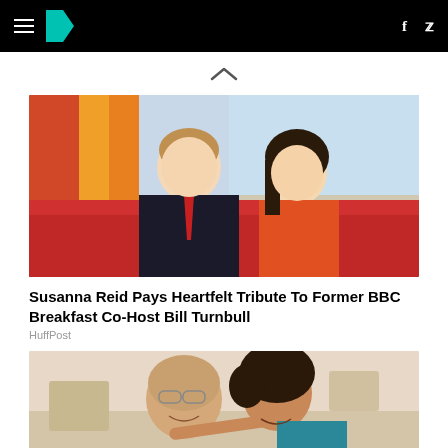HuffPost navigation bar with hamburger menu, logo, Facebook and Twitter icons
[Figure (photo): Upward chevron/caret symbol indicating scroll up]
[Figure (photo): Photo of two TV presenters (man in black suit with red tie, woman in orange dress) sitting on a red sofa in a BBC Breakfast studio setting]
Susanna Reid Pays Heartfelt Tribute To Former BBC Breakfast Co-Host Bill Turnbull
HuffPost
[Figure (photo): Photo of two women smiling and hugging, one older woman with glasses and one younger woman with curly hair in a teal top]